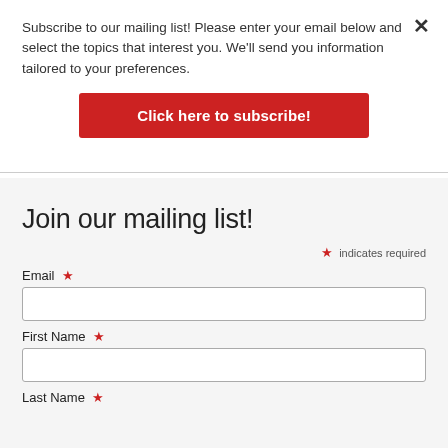Subscribe to our mailing list! Please enter your email below and select the topics that interest you. We'll send you information tailored to your preferences.
Click here to subscribe!
Join our mailing list!
* indicates required
Email *
First Name *
Last Name *